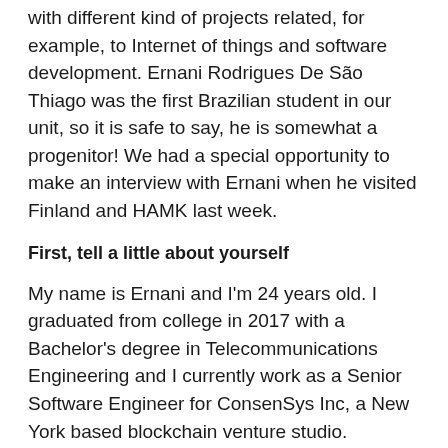with different kind of projects related, for example, to Internet of things and software development. Ernani Rodrigues De São Thiago was the first Brazilian student in our unit, so it is safe to say, he is somewhat a progenitor! We had a special opportunity to make an interview with Ernani when he visited Finland and HAMK last week.
First, tell a little about yourself
My name is Ernani and I'm 24 years old. I graduated from college in 2017 with a Bachelor's degree in Telecommunications Engineering and I currently work as a Senior Software Engineer for ConsenSys Inc, a New York based blockchain venture studio.